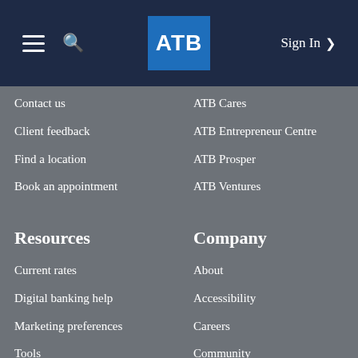ATB — Sign In
Contact us
Client feedback
Find a location
Book an appointment
ATB Cares
ATB Entrepreneur Centre
ATB Prosper
ATB Ventures
Resources
Company
Current rates
Digital banking help
Marketing preferences
Tools
About
Accessibility
Careers
Community
Insights